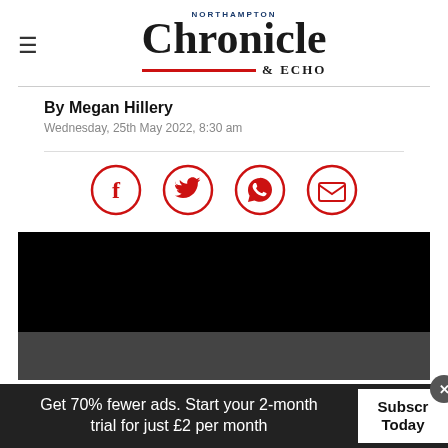[Figure (logo): Northampton Chronicle & Echo newspaper logo with hamburger menu icon]
By Megan Hillery
Wednesday, 25th May 2022, 8:30 am
[Figure (infographic): Social sharing icons: Facebook, Twitter, WhatsApp, Email — red circle outlines with red icons]
[Figure (photo): Black media/video embed block]
Get 70% fewer ads. Start your 2-month trial for just £2 per month
Subscribe Today